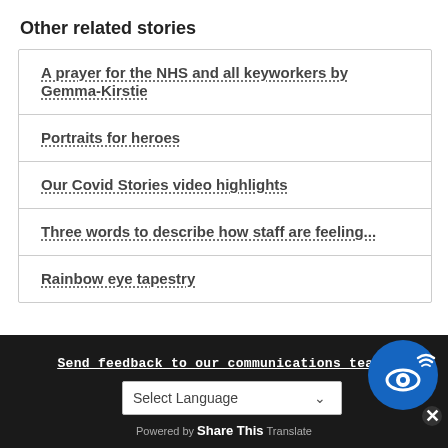Other related stories
A prayer for the NHS and all keyworkers by Gemma-Kirstie
Portraits for heroes
Our Covid Stories video highlights
Three words to describe how staff are feeling...
Rainbow eye tapestry
Send feedback to our communications team | Select Language Powered by Share This Translate